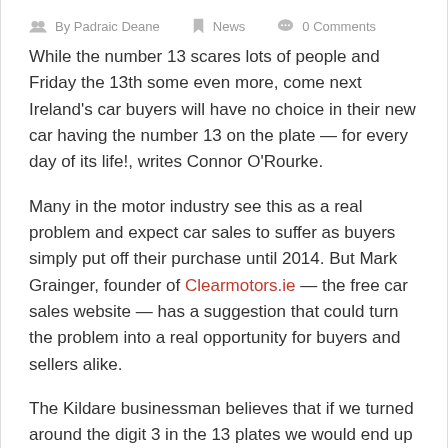By Padraic Deane  News  0 Comments
While the number 13 scares lots of people and Friday the 13th some even more, come next Ireland's car buyers will have no choice in their new car having the number 13 on the plate — for every day of its life!, writes Connor O'Rourke.
Many in the motor industry see this as a real problem and expect car sales to suffer as buyers simply put off their purchase until 2014. But Mark Grainger, founder of Clearmotors.ie — the free car sales website — has a suggestion that could turn the problem into a real opportunity for buyers and sellers alike.
The Kildare businessman believes that if we turned around the digit 3 in the 13 plates we would end up with a once-off '1E' registration that would not only solve the problem of the unlucky 13 — it would make the 2013 registration a collectors' item and, in fact, boost sales next year.